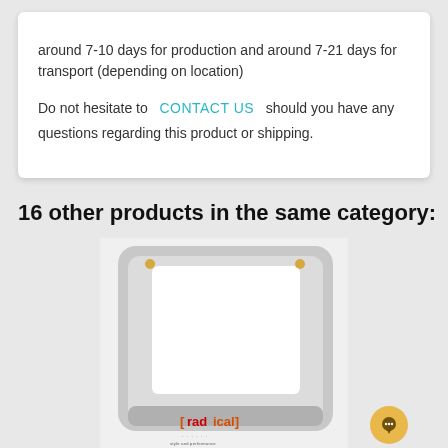around 7-10 days for production and around 7-21 days for transport (depending on location)
Do not hesitate to CONTACT US should you have any questions regarding this product or shipping.
16 other products in the same category:
[Figure (photo): Photo of a rectangular magnifier or light panel with a white/gray plastic frame, showing the [radical] brand logo at the bottom.]